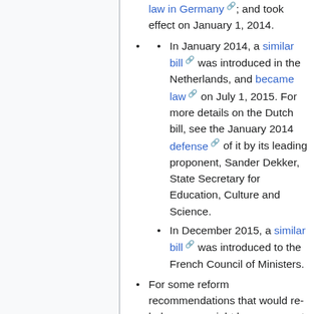law in Germany, and took effect on January 1, 2014.
In January 2014, a similar bill was introduced in the Netherlands, and became law on July 1, 2015. For more details on the Dutch bill, see the January 2014 defense of it by its leading proponent, Sander Dekker, State Secretary for Education, Culture and Science.
In December 2015, a similar bill was introduced to the French Council of Ministers.
For some reform recommendations that would re-balance copyright law, or correct some of its excesses, but without aiming to optimize copyright law